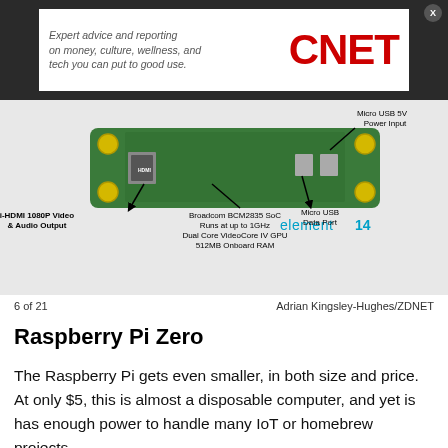[Figure (other): CNET advertisement banner with tagline 'Expert advice and reporting on money, culture, wellness, and tech you can put to good use.' and CNET logo in red.]
[Figure (engineering-diagram): Raspberry Pi Zero board with labeled annotations: Mini-HDMI 1080P Video & Audio Output, Broadcom BCM2835 SoC Runs at up to 1GHz Dual Core VideoCore IV GPU 512MB Onboard RAM, Micro USB Data Port, Micro USB 5V Power Input. Element14 logo visible.]
6 of 21    Adrian Kingsley-Hughes/ZDNET
Raspberry Pi Zero
The Raspberry Pi gets even smaller, in both size and price. At only $5, this is almost a disposable computer, and yet is has enough power to handle many IoT or homebrew projects.
Despite the size, there's room for a microSD card